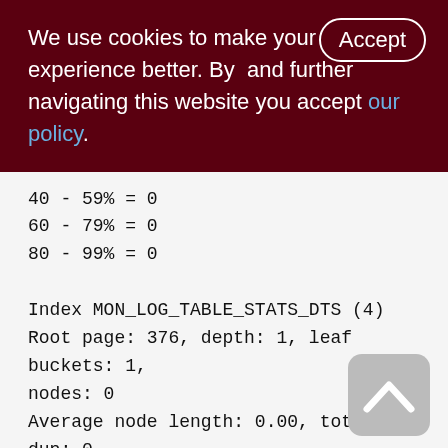We use cookies to make your experience better. By accepting and further navigating this website you accept our policy.
40 - 59% = 0
60 - 79% = 0
80 - 99% = 0
Index MON_LOG_TABLE_STATS_DTS (4)
Root page: 376, depth: 1, leaf buckets: 1, nodes: 0
Average node length: 0.00, total dup: 0, max dup: 0
Average key length: 0.00, compression ratio: 0.00
Average prefix length: 0.00, average data